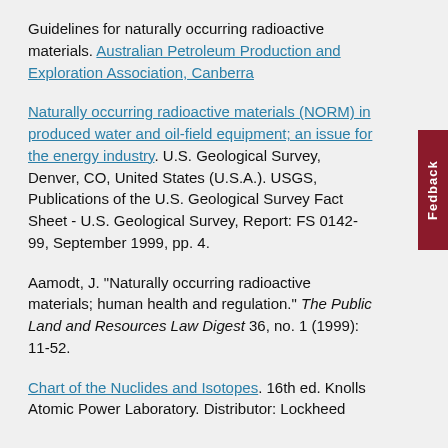Guidelines for naturally occurring radioactive materials. Australian Petroleum Production and Exploration Association, Canberra
Naturally occurring radioactive materials (NORM) in produced water and oil-field equipment; an issue for the energy industry. U.S. Geological Survey, Denver, CO, United States (U.S.A.). USGS, Publications of the U.S. Geological Survey Fact Sheet - U.S. Geological Survey, Report: FS 0142-99, September 1999, pp. 4.
Aamodt, J. "Naturally occurring radioactive materials; human health and regulation." The Public Land and Resources Law Digest 36, no. 1 (1999): 11-52.
Chart of the Nuclides and Isotopes. 16th ed. Knolls Atomic Power Laboratory. Distributor: Lockheed